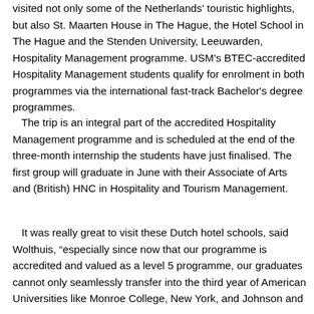visited not only some of the Netherlands' touristic highlights, but also St. Maarten House in The Hague, the Hotel School in The Hague and the Stenden University, Leeuwarden, Hospitality Management programme. USM's BTEC-accredited Hospitality Management students qualify for enrolment in both programmes via the international fast-track Bachelor's degree programmes.
The trip is an integral part of the accredited Hospitality Management programme and is scheduled at the end of the three-month internship the students have just finalised. The first group will graduate in June with their Associate of Arts and (British) HNC in Hospitality and Tourism Management.
It was really great to visit these Dutch hotel schools, said Wolthuis, “especially since now that our programme is accredited and valued as a level 5 programme, our graduates cannot only seamlessly transfer into the third year of American Universities like Monroe College, New York, and Johnson and